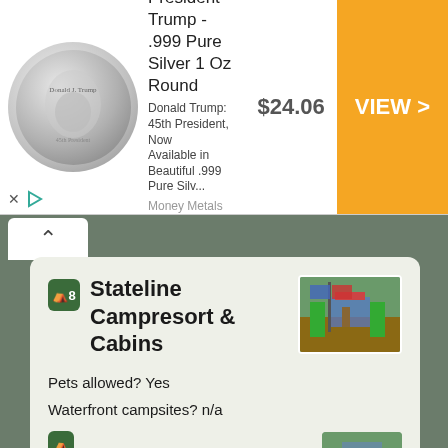[Figure (screenshot): Advertisement banner for President Trump .999 Pure Silver 1 Oz Round coin from Money Metals Exchange, priced at $24.06 with a VIEW button]
Stateline Campresort & Cabins
[Figure (photo): Photo of Stateline Campresort & Cabins showing a sign and camping area]
Pets allowed? Yes
Waterfront campsites? n/a
Campsites with water hookup? No
Sites with electric hookup? Yes
Sites with sewer hookup? No
Web reservable? n/a